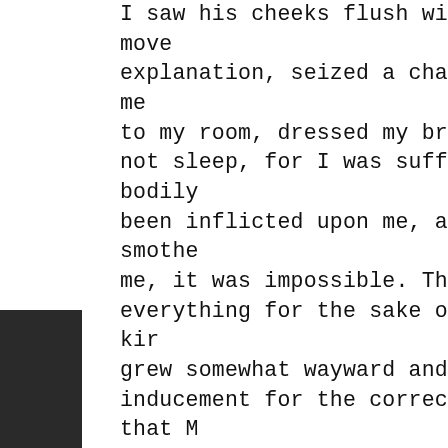I saw his cheeks flush with anger, but I did not move explanation, seized a chair, struck me, and felled me to my room, dressed my bruised arms and back as be not sleep, for I was suffering mental as well as bodily been inflicted upon me, and though I tried to smothe me, it was impossible. The next morning I was more everything for the sake of one kind word. But the kir grew somewhat wayward and sullen. Though I had inducement for the correction of them. It seems that M what he called my "stubborn pride." On Friday follo Bingham again directed me come to his study. I went attempt to flog me again. On entering the room I fou him that I was ready to die, but that he could not co when he seized a heavy stick and beat me with it in but with pride as strong and defiant as ever. The foll but in vain. We struggled, and he struck me many so exhausted with his efforts, he burst into tears, and de suffering at last subdued his hard heart; he asked my never known to strike one of his servants from that c Heaven, who glorified the precepts and examples of Sabbath from the pulpit, when Mr. Bingham refused